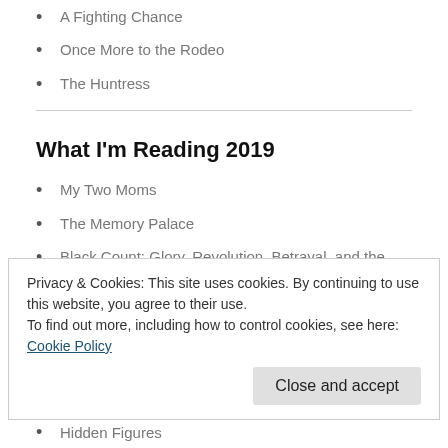A Fighting Chance
Once More to the Rodeo
The Huntress
What I'm Reading 2019
My Two Moms
The Memory Palace
Black Count: Glory, Revolution, Betrayal, and the Real Count of Monte Cristo
Educated
One Nation Under God: How Corporate America Invented Christian
Privacy & Cookies: This site uses cookies. By continuing to use this website, you agree to their use.
To find out more, including how to control cookies, see here: Cookie Policy
Close and accept
Hidden Figures